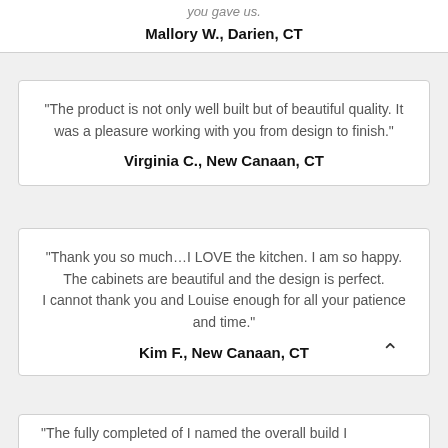you gave us.
Mallory W., Darien, CT
"The product is not only well built but of beautiful quality. It was a pleasure working with you from design to finish."
Virginia C., New Canaan, CT
"Thank you so much…I LOVE the kitchen. I am so happy. The cabinets are beautiful and the design is perfect.
I cannot thank you and Louise enough for all your patience and time."
Kim F., New Canaan, CT
"The fully completed of I named the overall build I